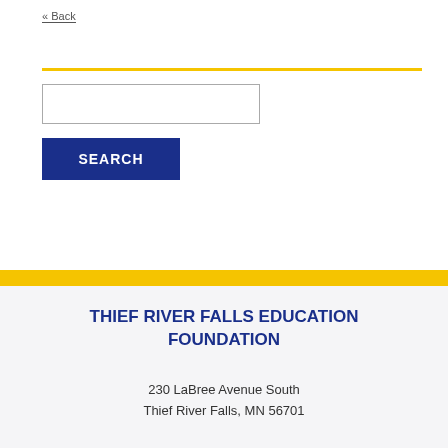« Back
[Figure (other): Yellow horizontal rule separator line]
[Figure (other): Search input text box (empty)]
[Figure (other): Blue SEARCH button]
[Figure (other): Yellow horizontal band separator]
THIEF RIVER FALLS EDUCATION FOUNDATION
230 LaBree Avenue South
Thief River Falls, MN 56701